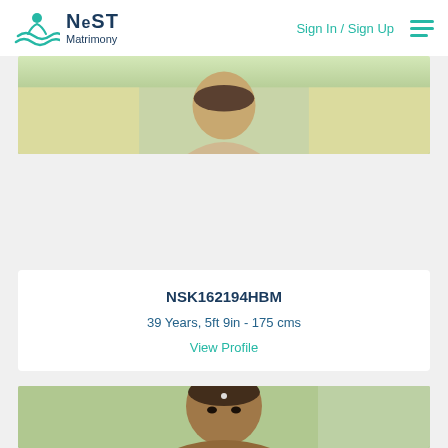NEST Matrimony | Sign In / Sign Up
[Figure (photo): Top portion of a profile photo showing a man's head/shoulders against a blurred background]
NSK162194HBM
39 Years, 5ft 9in - 175 cms
View Profile
[Figure (photo): Profile photo of a man with a bindi/tilak on forehead, against indoor background]